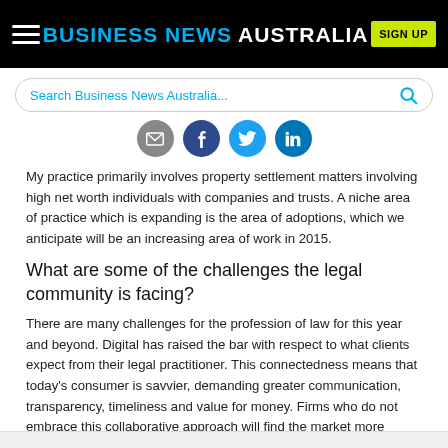BUSINESS NEWS AUSTRALIA
Search Business News Australia...
[Figure (infographic): Social share icons: email, Facebook, Twitter, LinkedIn]
My practice primarily involves property settlement matters involving high net worth individuals with companies and trusts. A niche area of practice which is expanding is the area of adoptions, which we anticipate will be an increasing area of work in 2015.
What are some of the challenges the legal community is facing?
There are many challenges for the profession of law for this year and beyond. Digital has raised the bar with respect to what clients expect from their legal practitioner. This connectedness means that today's consumer is savvier, demanding greater communication, transparency, timeliness and value for money. Firms who do not embrace this collaborative approach will find the market more challenging as time goes on.